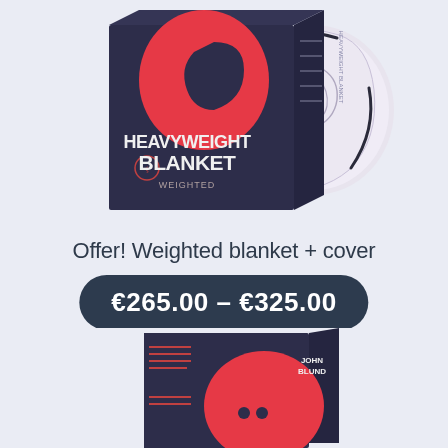[Figure (photo): Product photo showing a navy and red box labeled HEAVYWEIGHT BLANKET with a rolled white blanket with dark trim beside it, on a light blue-grey background.]
Offer! Weighted blanket + cover
€265.00 – €325.00
[Figure (photo): Partial product photo showing a navy box with red circular design and JOHN BLUND branding, partially visible at the bottom of the page.]